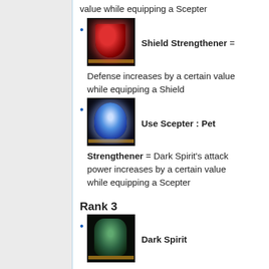value while equipping a Scepter
Shield Strengthener = Defense increases by a certain value while equipping a Shield
Use Scepter : Pet Strengthener = Dark Spirit's attack power increases by a certain value while equipping a Scepter
Rank 3
Dark Spirit Strengthener(2) = Dark Spirit's